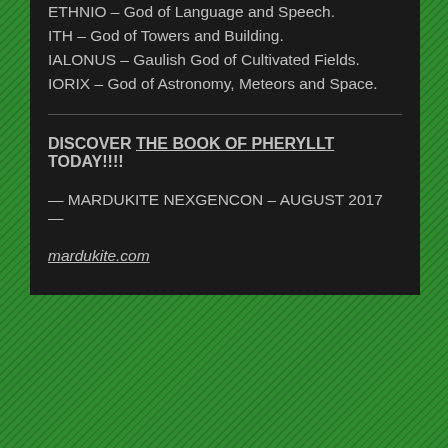ETHNIO – God of Language and Speech.
ITH – God of Towers and Building.
IALONUS – Gaulish God of Cultivated Fields.
IORIX – God of Astronomy, Meteors and Space.
DISCOVER THE BOOK OF PHERYLLT TODAY!!!!
— MARDUKITE NEXGENCON – AUGUST 2017 —
mardukite.com